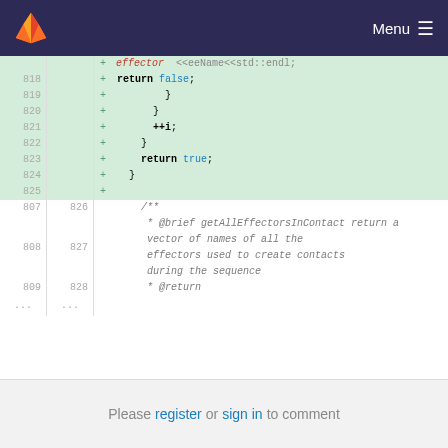Menu
[Figure (screenshot): GitLab code diff view showing added lines 818-825 with C++ code (return false, closing braces, ++i, return true) and normal lines 826-828 with a Doxygen comment block for getAllEffectorsInContact function]
Please register or sign in to comment